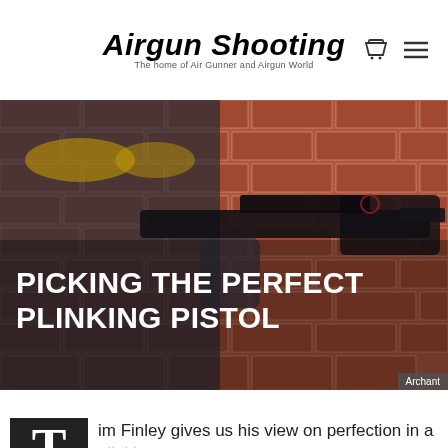Airgun Shooting — The home of Air Gunner and Airgun World
[Figure (photo): Man aiming an air pistol with a red dot scope at the camera, wearing yellow-tinted safety glasses and a tie-dye shirt, against a red brick wall background.]
PICKING THE PERFECT PLINKING PISTOL
Archant
Tim Finley gives us his view on perfection in a plinking